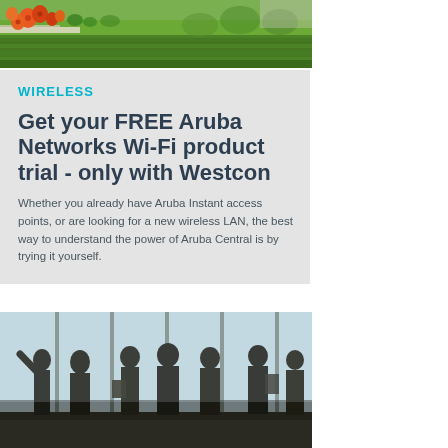[Figure (photo): Outdoor garden photo with orange poppies and green grass lawn]
WIRELESS
Get your FREE Aruba Networks Wi-Fi product trial - only with Westcon
Whether you already have Aruba Instant access points, or are looking for a new wireless LAN, the best way to understand the power of Aruba Central is by trying it yourself.
[Figure (photo): Silhouettes of business people meeting and talking near large windows]